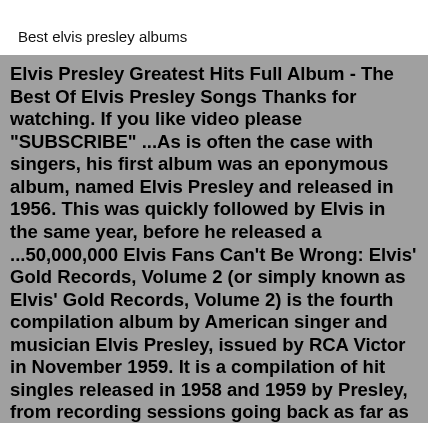Best elvis presley albums
Elvis Presley Greatest Hits Full Album - The Best Of Elvis Presley Songs Thanks for watching. If you like video please "SUBSCRIBE" ...As is often the case with singers, his first album was an eponymous album, named Elvis Presley and released in 1956. This was quickly followed by Elvis in the same year, before he released a ...50,000,000 Elvis Fans Can't Be Wrong: Elvis' Gold Records, Volume 2 (or simply known as Elvis' Gold Records, Volume 2) is the fourth compilation album by American singer and musician Elvis Presley, issued by RCA Victor in November 1959. It is a compilation of hit singles released in 1958 and 1959 by Presley, from recording sessions going back as far as February 1957.Offering Presley $50,000 for three appearances — 10 times what Allen had paid — TV's Sunday night king got his man and made history. Presley's first appearance that